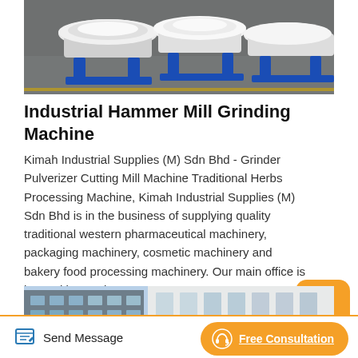[Figure (photo): Industrial hammer mill grinding machines in a factory setting, white disc-shaped machines on blue frames on a grey factory floor]
Industrial Hammer Mill Grinding Machine
Kimah Industrial Supplies (M) Sdn Bhd - Grinder Pulverizer Cutting Mill Machine Traditional Herbs Processing Machine, Kimah Industrial Supplies (M) Sdn Bhd is in the business of supplying quality traditional western pharmaceutical machinery, packaging machinery, cosmetic machinery and bakery food processing machinery. Our main office is located in Perai, Penang,…
[Figure (photo): Modern industrial or commercial building exterior with blue sky and white facade]
Send Message   Free Consultation